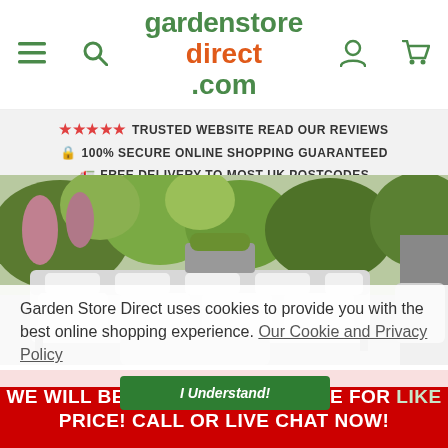[Figure (logo): Garden Store Direct logo with hamburger menu, search icon, user icon, and cart icon in navigation header]
★★★★★ TRUSTED WEBSITE READ OUR REVIEWS
🔒 100% SECURE ONLINE SHOPPING GUARANTEED
🚛 FREE DELIVERY TO MOST UK POSTCODES
[Figure (photo): Garden patio area with grey outdoor sofa furniture, cushions, and lush garden greenery in background]
Garden Store Direct uses cookies to provide you with the best online shopping experience.  Our Cookie and Privacy Policy
I Understand!
WE WILL BEAT ANY GENUINE LIKE FOR LIKE PRICE! CALL OR LIVE CHAT NOW!